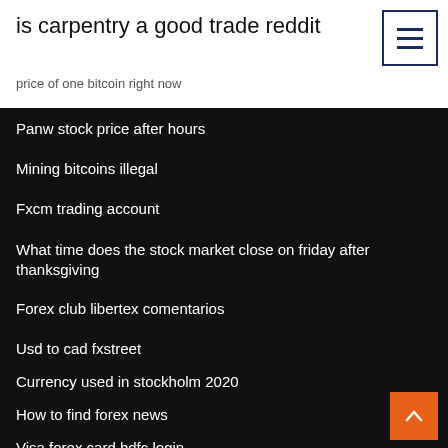is carpentry a good trade reddit
price of one bitcoin right now
Panw stock price after hours
Mining bitcoins illegal
Fxcm trading account
What time does the stock market close on friday after thanksgiving
Forex club libertex comentarios
Usd to cad fxstreet
Currency used in stockholm 2020
How to find forex news
Visa forex card hdfc login